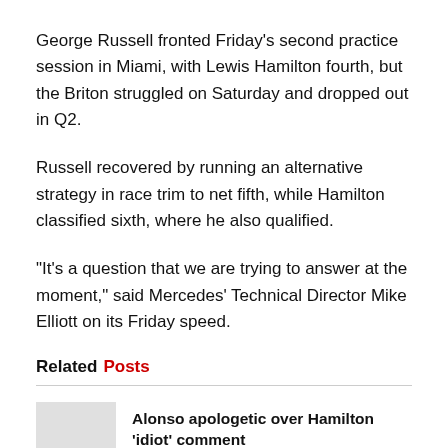George Russell fronted Friday’s second practice session in Miami, with Lewis Hamilton fourth, but the Briton struggled on Saturday and dropped out in Q2.
Russell recovered by running an alternative strategy in race trim to net fifth, while Hamilton classified sixth, where he also qualified.
“It’s a question that we are trying to answer at the moment,” said Mercedes’ Technical Director Mike Elliott on its Friday speed.
Related Posts
Alonso apologetic over Hamilton ‘idiot’ comment